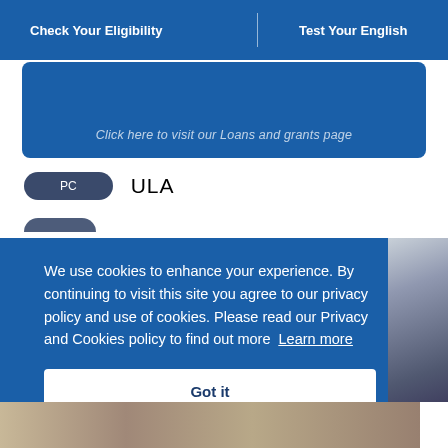Check Your Eligibility | Test Your English
Click here to visit our Loans and grants page
PC   ULA
We use cookies to enhance your experience. By continuing to visit this site you agree to our privacy policy and use of cookies. Please read our Privacy and Cookies policy to find out more  Learn more
Got it
[Figure (photo): Partial photo of a person at the right edge of the page]